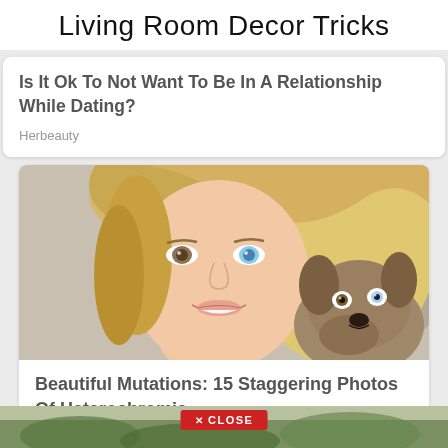Living Room Decor Tricks
Is It Ok To Not Want To Be In A Relationship While Dating?
Herbeauty
[Figure (photo): A smiling blonde woman with heterochromatic eyes holding a puppy that also has heterochromia]
Beautiful Mutations: 15 Staggering Photos Of Heterochromia
Brainberries
[Figure (photo): Partially visible image at bottom of page, appears to be outdoor nature scene]
✕ CLOSE